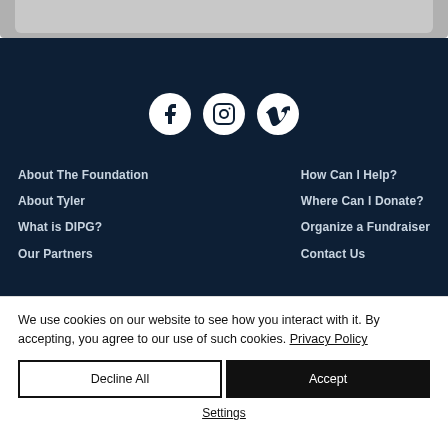[Figure (screenshot): Gray rounded header bar at the top of a website]
[Figure (screenshot): Dark navy footer section with social media icons (Facebook, Instagram, Vimeo) and navigation links in two columns]
About The Foundation
About Tyler
What is DIPG?
Our Partners
How Can I Help?
Where Can I Donate?
Organize a Fundraiser
Contact Us
We use cookies on our website to see how you interact with it. By accepting, you agree to our use of such cookies. Privacy Policy
Decline All
Accept
Settings